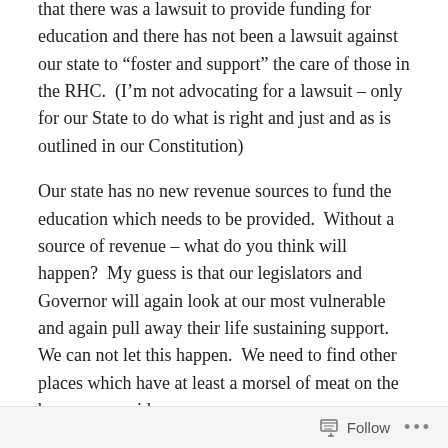that there was a lawsuit to provide funding for education and there has not been a lawsuit against our state to “foster and support” the care of those in the RHC.  (I’m not advocating for a lawsuit – only for our State to do what is right and just and as is outlined in our Constitution)
Our state has no new revenue sources to fund the education which needs to be provided.  Without a source of revenue – what do you think will happen?  My guess is that our legislators and Governor will again look at our most vulnerable and again pull away their life sustaining support.  We can not let this happen.  We need to find other places which have at least a morsel of meat on the bones or provide a revenue source.
Follow